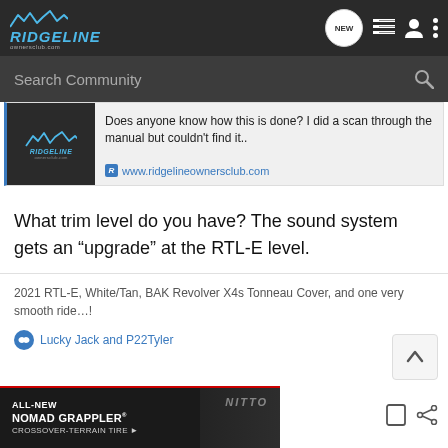Ridgeline Owners Club - Navigation Bar
Search Community
[Figure (screenshot): Link preview card showing Ridgeline Owners Club logo and text: Does anyone know how this is done? I did a scan through the manual but couldn't find it.. www.ridgelineownersclub.com]
What trim level do you have? The sound system gets an “upgrade” at the RTL-E level.
2021 RTL-E, White/Tan, BAK Revolver X4s Tonneau Cover, and one very smooth ride…!
Lucky Jack and P22Tyler
[Figure (photo): Ad banner for Nitto ALL-NEW NOMAD GRAPPLER CROSSOVER-TERRAIN TIRE]